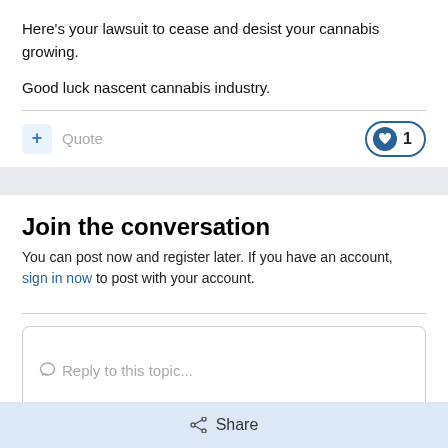Here's your lawsuit to cease and desist your cannabis growing.
Good luck nascent cannabis industry.
Quote
Join the conversation
You can post now and register later. If you have an account, sign in now to post with your account.
Reply to this topic...
Share